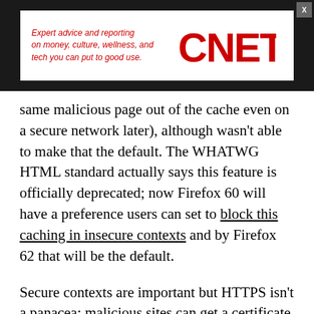[Figure (logo): CNET advertisement banner: 'Expert advice and reporting on money, culture, wellness, and tech you can put to good use.' with CNET logo in red on white background, set against dark background with X close button]
same malicious page out of the cache even on a secure network later), although wasn't able to make that the default. The WHATWG HTML standard actually says this feature is officially deprecated; now Firefox 60 will have a preference users can set to block this caching in insecure contexts and by Firefox 62 that will be the default.
Secure contexts are important but HTTPS isn't a panacea; malicious sites can get a certificate too. And we need controls for browser features that aren't going to be restricted to secure contexts.
Windows lets you see which apps you allow to see